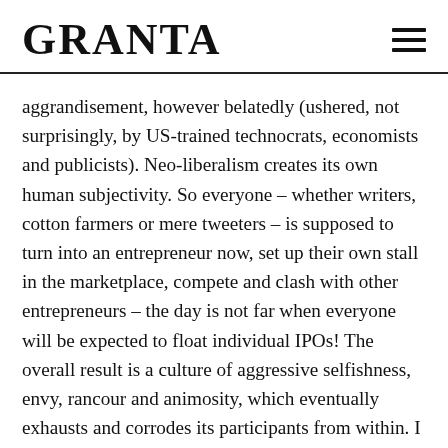GRANTA
aggrandisement, however belatedly (ushered, not surprisingly, by US-trained technocrats, economists and publicists). Neo-liberalism creates its own human subjectivity. So everyone – whether writers, cotton farmers or mere tweeters – is supposed to turn into an entrepreneur now, set up their own stall in the marketplace, compete and clash with other entrepreneurs – the day is not far when everyone will be expected to float individual IPOs! The overall result is a culture of aggressive selfishness, envy, rancour and animosity, which eventually exhausts and corrodes its participants from within. I find it extraordinary and deeply depressing that the idea of caring about the weak is scorned as 'socialist' by many rich and powerful Indians today – derided as the pitiable obsession of deluded jholawallahs. The caste system